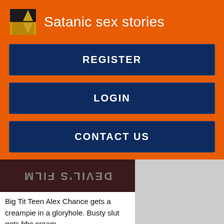Satanic sex stories
REGISTER
LOGIN
CONTACT US
[Figure (photo): Mirrored/flipped text image showing DEVIL'S FILM in dark background]
Big Tit Teen Alex Chance gets a creampie in a gloryhole. Busty slut gets bbc cream.
Surprise+gloryhole
Sexy Jeniifer White in bathroom, paid to suck dick. Alura Jenson